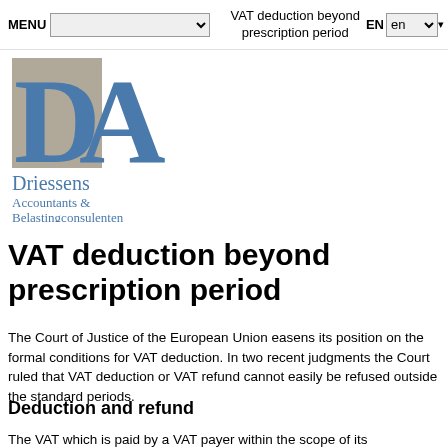MENU | [dropdown] | VAT deduction beyond prescription period | EN en
[Figure (logo): DA logo — large stylized letters D and A in blue and grey, with text 'Driessens Accountants & Belastingconsulenten' below]
VAT deduction beyond prescription period
The Court of Justice of the European Union easens its position on the formal conditions for VAT deduction. In two recent judgments the Court ruled that VAT deduction or VAT refund cannot easily be refused outside the standard periods.
Deduction and refund
The VAT which is paid by a VAT payer within the scope of its